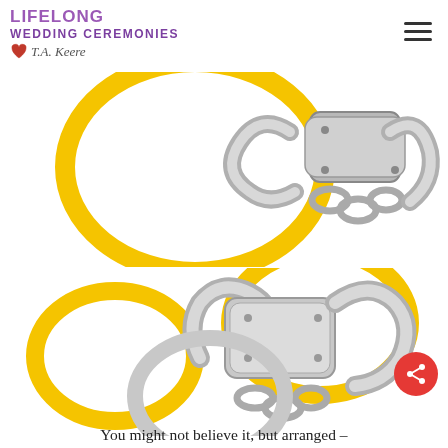Lifelong Wedding Ceremonies with T.A. Keere
[Figure (illustration): Illustration of silver handcuffs with yellow/gold wedding rings intertwined, top cropped view]
[Figure (illustration): Illustration of silver handcuffs with two yellow/gold wedding rings intertwined, full view]
You might not believe it, but arranged –